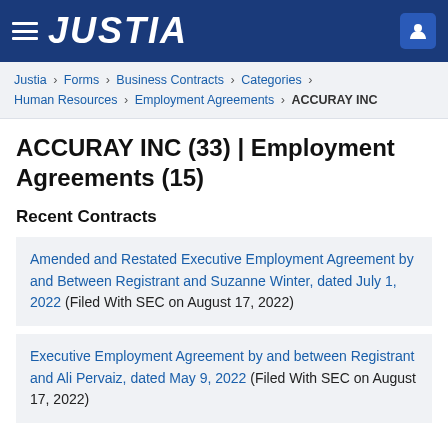JUSTIA
Justia › Forms › Business Contracts › Categories › Human Resources › Employment Agreements › ACCURAY INC
ACCURAY INC (33) | Employment Agreements (15)
Recent Contracts
Amended and Restated Executive Employment Agreement by and Between Registrant and Suzanne Winter, dated July 1, 2022 (Filed With SEC on August 17, 2022)
Executive Employment Agreement by and between Registrant and Ali Pervaiz, dated May 9, 2022 (Filed With SEC on August 17, 2022)